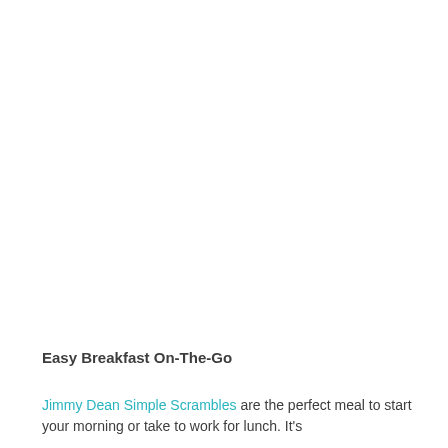[Figure (photo): Large white/blank image area at top of page, likely a food photo placeholder]
Easy Breakfast On-The-Go
Jimmy Dean Simple Scrambles are the perfect meal to start your morning or take to work for lunch. It's